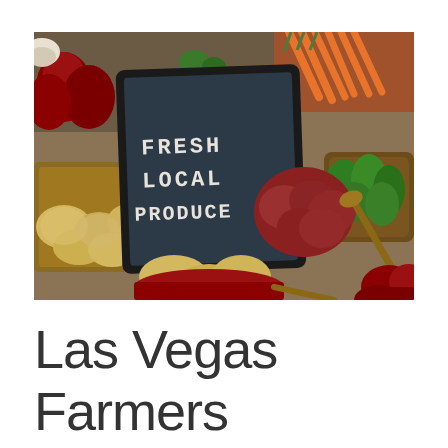[Figure (photo): A farmers market display with various fresh vegetables and produce in wooden baskets and bowls. A chalkboard sign in the center reads 'FRESH LOCAL PRODUCE' in white chalk lettering. Visible produce includes potatoes, red onions, carrots, green peppers, red potatoes, and other vegetables.]
Las Vegas Farmers